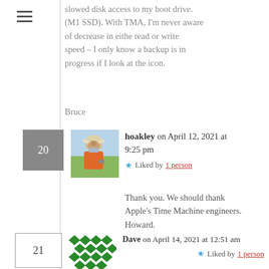slowed disk access to my boot drive. (M1 SSD). With TMA, I'm never aware of decrease in eithe read or write speed – I only know a backup is in progress if I look at the icon.
Bruce
hoakley on April 12, 2021 at 9:25 pm  ★ Liked by 1 person
[Figure (photo): Avatar photo of hoakley - person in hat and orange jacket outdoors]
Thank you. We should thank Apple's Time Machine engineers. Howard.
Dave on April 14, 2021 at 12:51 am  ★ Liked by 1 person
[Figure (illustration): Green geometric diamond pattern avatar for Dave]